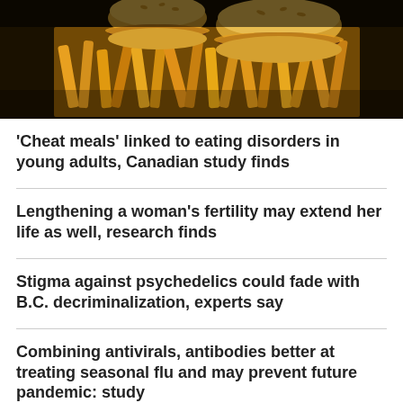[Figure (photo): Close-up photo of fast food — burgers and french fries piled together on a dark background]
'Cheat meals' linked to eating disorders in young adults, Canadian study finds
Lengthening a woman's fertility may extend her life as well, research finds
Stigma against psychedelics could fade with B.C. decriminalization, experts say
Combining antivirals, antibodies better at treating seasonal flu and may prevent future pandemic: study